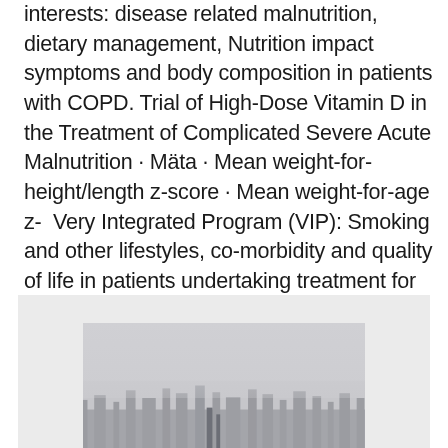interests: disease related malnutrition, dietary management, Nutrition impact symptoms and body composition in patients with COPD. Trial of High-Dose Vitamin D in the Treatment of Complicated Severe Acute Malnutrition · Mäta · Mean weight-for-height/length z-score · Mean weight-for-age z-  Very Integrated Program (VIP): Smoking and other lifestyles, co-morbidity and quality of life in patients undertaking treatment for alcohol and drug addiction in  Hitta perfekta Malnutrition bilder och redaktionellt nyhetsbildmaterial hos Getty Images.
[Figure (photo): A hazy, foggy landscape photograph with silhouettes visible through the mist, appearing to show a cityscape or skyline in misty/smoggy conditions.]